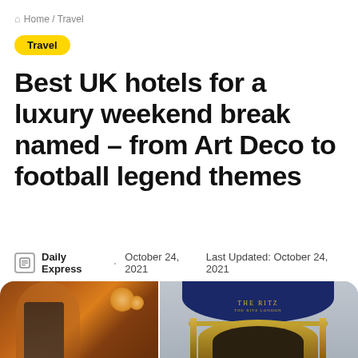🏠 Home / Travel
Travel
Best UK hotels for a luxury weekend break named – from Art Deco to football legend themes
Daily Express · October 24, 2021  Last Updated: October 24, 2021
[Figure (photo): Left: interior of a luxurious hotel lobby with ornate golden-orange decor and a person in a suit wearing a mask. Right: exterior entrance of The Ritz London hotel with its iconic navy blue semicircular awning and gold revolving door.]